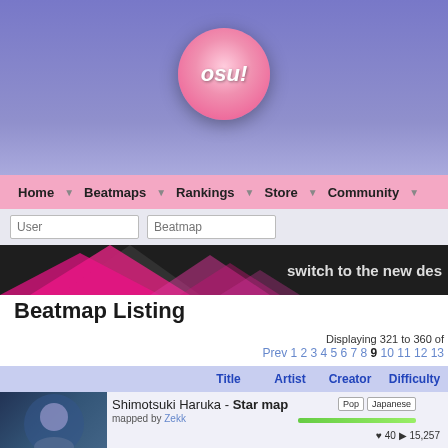[Figure (logo): osu! circular pink logo with text 'osu!']
Home  Beatmaps  Rankings  Store  Community
User  Beatmap (search inputs)
[Figure (illustration): Dark banner with pink triangles and text 'switch to the new des']
Beatmap Listing
Displaying 321 to 360 of
Prev 1 2 3 4 5 6 7 8 9 10 11 12 13
| Title | Artist | Creator | Difficulty |
| --- | --- | --- | --- |
[Figure (illustration): Beatmap thumbnail: Shimotsuki Haruka Star map, anime art blue tones]
Shimotsuki Haruka - Star map
mapped by Zekk
Pop  Japanese
♥ 40 ▶ 15,257
[Figure (illustration): Beatmap thumbnail: Mig neprochen, spinning circle/arrows icon dark]
Marto - Mig neprochen
mapped by Florescence
Rock  Russian
♥ 31 ▶ 6,645
[Figure (illustration): Beatmap thumbnail: Chino anime art]
Chino (CV: Inori Minase) - Shinsaku no Shiawase wa Kochi
mapped by Kyuuchie
Anime  Japanese